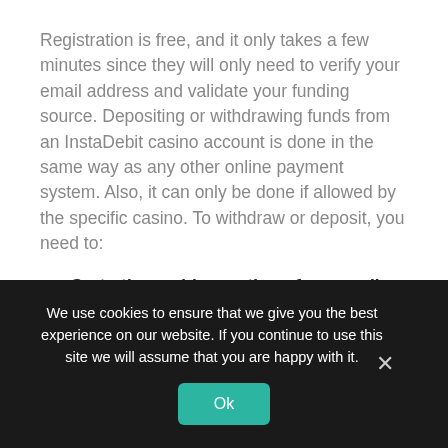Registration is free, and it only takes a few minutes since they will only need to verify your email address and validate your funding source. Depositing or withdrawing funds from an InstaDebit casino account is done in the same way as any other online payment system. Also, it can only be done if allowed by the specific casino. To withdraw or deposit, you need to:
Go to the cashier section of your online casino and tap the 'deposit' or withdraw' option.
We use cookies to ensure that we give you the best experience on our website. If you continue to use this site we will assume that you are happy with it.